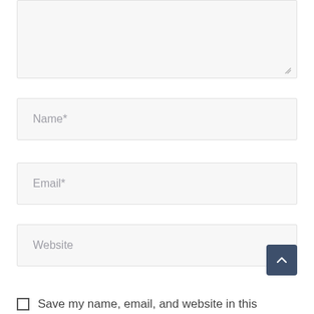[Figure (screenshot): A textarea input box with a resize handle at the bottom-right corner, shown with a light gray background and a thin border.]
Name*
Email*
Website
[Figure (other): Back-to-top button: a dark navy blue rounded square button with a white upward chevron arrow icon.]
Save my name, email, and website in this